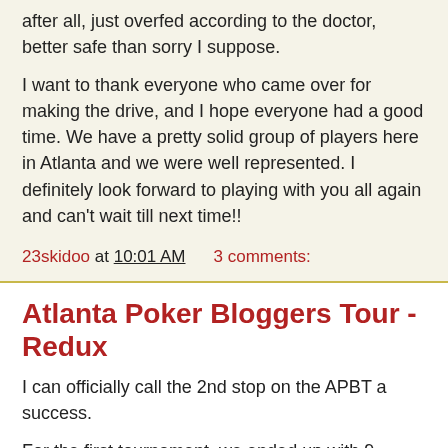after all, just overfed according to the doctor, better safe than sorry I suppose.
I want to thank everyone who came over for making the drive, and I hope everyone had a good time. We have a pretty solid group of players here in Atlanta and we were well represented. I definitely look forward to playing with you all again and can't wait till next time!!
23skidoo at 10:01 AM    3 comments:
Atlanta Poker Bloggers Tour - Redux
I can officially call the 2nd stop on the APBT a success.
For the first tournament, we ended up with 9 players.
IIRC Seat 1- Butch 2- Amy 3- Brain 4- Weak 5- Surf 6- king 7- me 8- cc 9- Rufus
Surf wont out first and I wont 2nd when weak turned a 4 card...